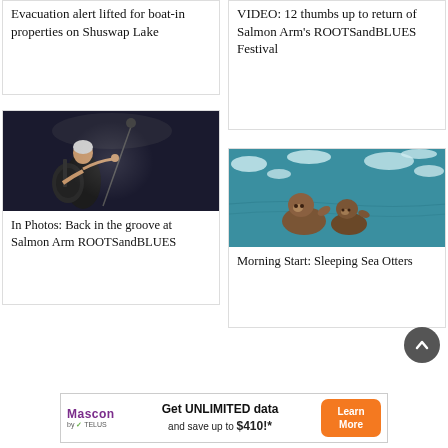Evacuation alert lifted for boat-in properties on Shuswap Lake
VIDEO: 12 thumbs up to return of Salmon Arm's ROOTSandBLUES Festival
[Figure (photo): Guitarist performing on stage in dark setting, holding electric guitar and singing into microphone]
In Photos: Back in the groove at Salmon Arm ROOTSandBLUES
[Figure (photo): Two sea otters floating in icy water, one appearing to hold the other]
Morning Start: Sleeping Sea Otters
Get UNLIMITED data and save up to $410!*
[Figure (infographic): Mascon by TELUS advertisement banner: Get UNLIMITED data and save up to $410!* with Learn More button]